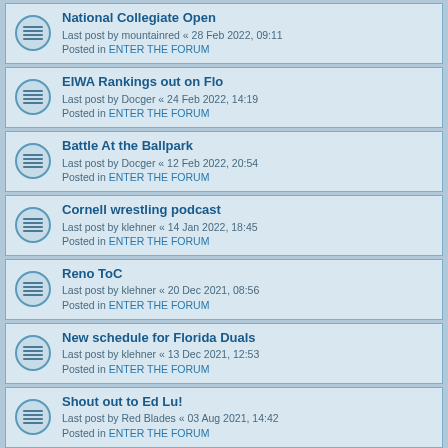National Collegiate Open
Last post by mountainred « 28 Feb 2022, 09:11
Posted in ENTER THE FORUM
EIWA Rankings out on Flo
Last post by Docger « 24 Feb 2022, 14:19
Posted in ENTER THE FORUM
Battle At the Ballpark
Last post by Docger « 12 Feb 2022, 20:54
Posted in ENTER THE FORUM
Cornell wrestling podcast
Last post by klehner « 14 Jan 2022, 18:45
Posted in ENTER THE FORUM
Reno ToC
Last post by klehner « 20 Dec 2021, 08:56
Posted in ENTER THE FORUM
New schedule for Florida Duals
Last post by klehner « 13 Dec 2021, 12:53
Posted in ENTER THE FORUM
Shout out to Ed Lu!
Last post by Red Blades « 03 Aug 2021, 14:42
Posted in ENTER THE FORUM
Brody Conley De-commits?
Last post by Mank « 21 Apr 2021, 18:21
Posted in ENTER THE FORUM
2022 - the path to taking team title (?)